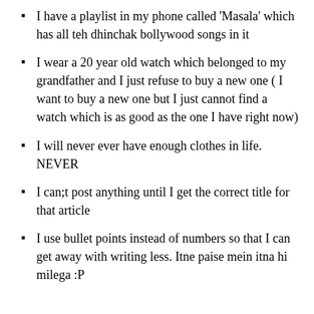I have a playlist in my phone called 'Masala' which has all teh dhinchak bollywood songs in it
I wear a 20 year old watch which belonged to my grandfather and I just refuse to buy a new one ( I want to buy a new one but I just cannot find a watch which is as good as the one I have right now)
I will never ever have enough clothes in life. NEVER
I can;t post anything until I get the correct title for that article
I use bullet points instead of numbers so that I can get away with writing less. Itne paise mein itna hi milega :P